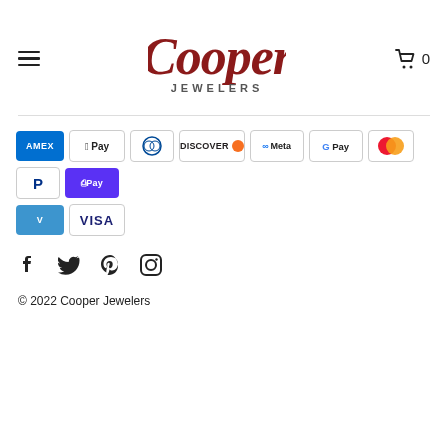Cooper Jewelers
[Figure (logo): Cooper Jewelers script logo in dark red/maroon with JEWELERS subtitle]
[Figure (infographic): Payment method icons: Amex, Apple Pay, Diners Club, Discover, Meta Pay, Google Pay, Mastercard, PayPal, Shop Pay, Venmo, Visa]
[Figure (infographic): Social media icons: Facebook, Twitter, Pinterest, Instagram]
© 2022 Cooper Jewelers